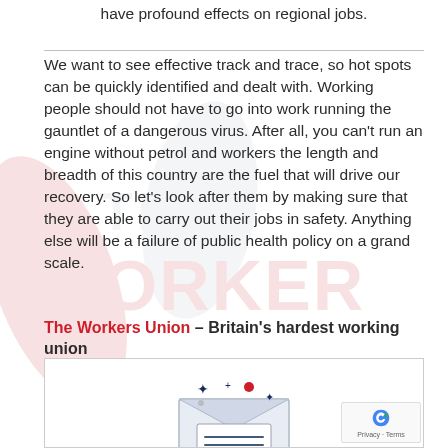have profound effects on regional jobs.
We want to see effective track and trace, so hot spots can be quickly identified and dealt with. Working people should not have to go into work running the gauntlet of a dangerous virus. After all, you can’t run an engine without petrol and workers the length and breadth of this country are the fuel that will drive our recovery. So let’s look after them by making sure that they are able to carry out their jobs in safety. Anything else will be a failure of public health policy on a grand scale.
The Workers Union – Britain’s hardest working union
[Figure (illustration): Envelope icon with sparkle stars and a newsletter letter inside, within a bordered box. A reCAPTCHA badge is in the bottom right corner.]